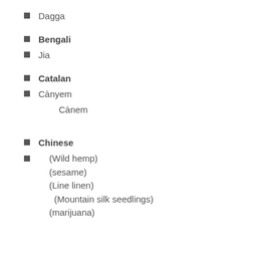Dagga
Bengali
Jia
Catalan
Cànyem
Cànem
Chinese
(Wild hemp)
(sesame)
(Line linen)
(Mountain silk seedlings)
(marijuana)